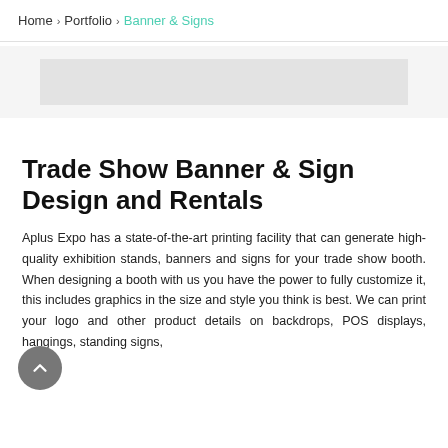Home > Portfolio > Banner & Signs
[Figure (other): Gray banner/advertisement placeholder area]
Trade Show Banner & Sign Design and Rentals
Aplus Expo has a state-of-the-art printing facility that can generate high-quality exhibition stands, banners and signs for your trade show booth. When designing a booth with us you have the power to fully customize it, this includes graphics in the size and style you think is best. We can print your logo and other product details on backdrops, POS displays, hangings, standing signs,